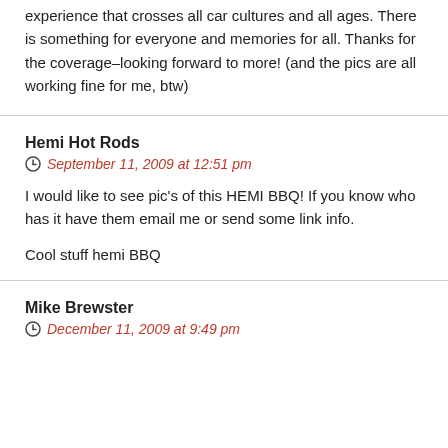experience that crosses all car cultures and all ages. There is something for everyone and memories for all. Thanks for the coverage–looking forward to more! (and the pics are all working fine for me, btw)
Hemi Hot Rods
September 11, 2009 at 12:51 pm
I would like to see pic's of this HEMI BBQ! If you know who has it have them email me or send some link info.

Cool stuff hemi BBQ
Mike Brewster
December 11, 2009 at 9:49 pm